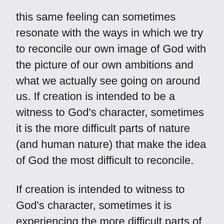this same feeling can sometimes resonate with the ways in which we try to reconcile our own image of God with the picture of our own ambitions and what we actually see going on around us. If creation is intended to be a witness to God's character, sometimes it is the more difficult parts of nature (and human nature) that make the idea of God the most difficult to reconcile.
If creation is intended to witness to God's character, sometimes it is experiencing the more difficult parts of nature (and human nature) that make the idea of God most difficult to reconcile and accept.
On the other hand, some of us saw this story as a clear demonstration of hope and faith. Faith in the idea that